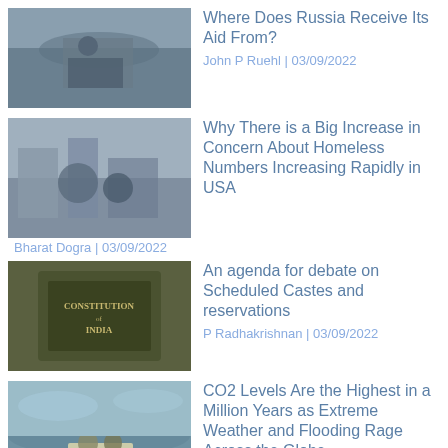[Figure (photo): Soldier with rifle in winter gear]
Where Does Russia Receive Its Aid From?
John P Ruehl | 03/09/2022
[Figure (photo): Street scene with people and vehicles]
Why There is a Big Increase in Concern About Homeless Numbers Increasing Rapidly in USA
Bharat Dogra | 03/09/2022
[Figure (photo): Constitution of India book cover]
An agenda for debate on Scheduled Castes and reservations
P Radhakrishnan | 03/09/2022
[Figure (photo): People on a raft in floodwaters]
CO2 Levels Are the Highest in a Million Years as Extreme Weather and Flooding Rage Across the Globe
Juan Cole | 02/09/2022
Workers Convention in Delhi